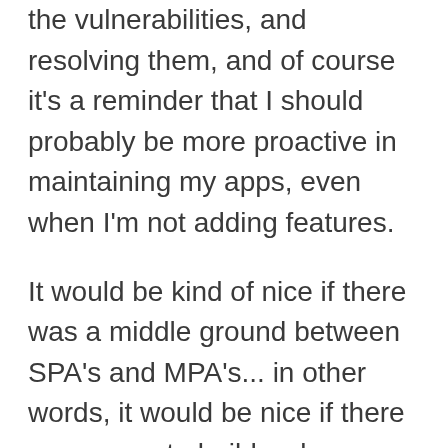the vulnerabilities, and resolving them, and of course it's a reminder that I should probably be more proactive in maintaining my apps, even when I'm not adding features.
It would be kind of nice if there was a middle ground between SPA's and MPA's... in other words, it would be nice if there was a way to build web apps with richer features, without having to take on all the complexity associated with SPA's... right?